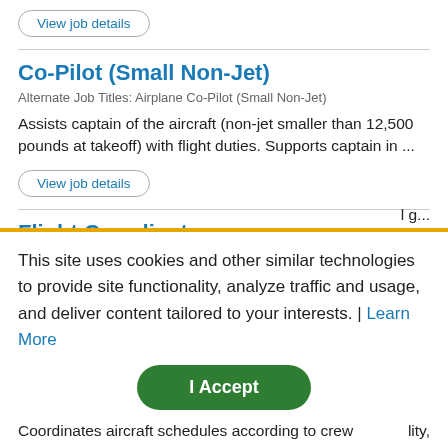View job details
Co-Pilot (Small Non-Jet)
Alternate Job Titles: Airplane Co-Pilot (Small Non-Jet)
Assists captain of the aircraft (non-jet smaller than 12,500 pounds at takeoff) with flight duties. Supports captain in ...
View job details
Flight Coordinator
Alternate Job Titles: Flight Scheduler
Coordinates aircraft schedules according to crew availability, l g...
This site uses cookies and other similar technologies to provide site functionality, analyze traffic and usage, and deliver content tailored to your interests. | Learn More
I Accept
Coordinates aircraft schedules according to crew availability, l g...